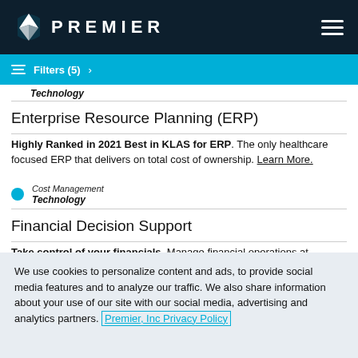PREMIER
Filters (5)
Technology
Enterprise Resource Planning (ERP)
Highly Ranked in 2021 Best in KLAS for ERP. The only healthcare focused ERP that delivers on total cost of ownership. Learn More.
Cost Management
Technology
Financial Decision Support
Take control of your financials. Manage financial operations at
We use cookies to personalize content and ads, to provide social media features and to analyze our traffic. We also share information about your use of our site with our social media, advertising and analytics partners. Premier, Inc Privacy Policy